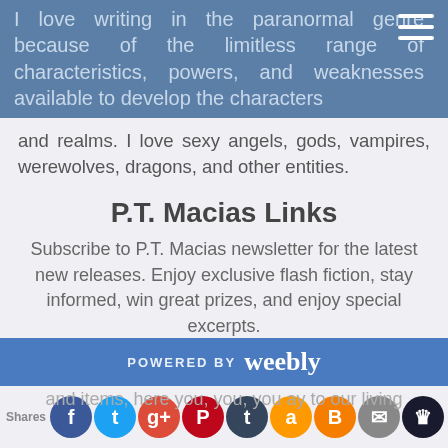I love writing in the paranormal genre because of the limitless range of characteristics, powers, and weaknesses available to develop the characters and realms. I love sexy angels, gods, vampires, werewolves, dragons, and other entities.
P.T. Macias Links
Subscribe to P.T. Macias newsletter for the latest new releases. Enjoy exclusive flash fiction, stay informed, win great prizes, and enjoy special excerpts.
ptmacias.com
ptmaciasbooks.com
Website/FB Author/FB Books/FB Angelic Insights/@pt_macias/@auth_PTMacias/Instagram/AmazonAuthorPage
Sparkle The New You Blog
POWERED BY weebly
and items, here you, you, you ay to our living Life Purpose